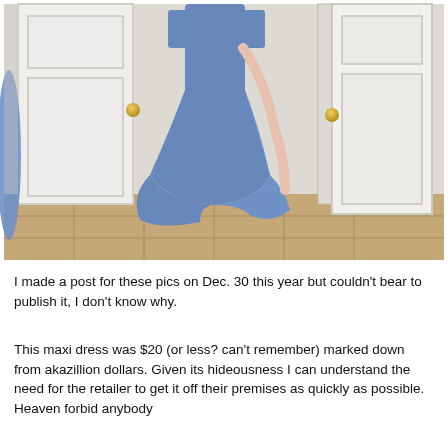[Figure (photo): A person wearing a long blue maxi dress, photographed from the side in a hallway with white paneled doors and tile flooring. Another blue dress is partially visible at the left edge.]
I made a post for these pics on Dec. 30 this year but couldn't bear to publish it, I don't know why.
This maxi dress was $20 (or less? can't remember) marked down from akazillion dollars. Given its hideousness I can understand the need for the retailer to get it off their premises as quickly as possible. Heaven forbid anybody